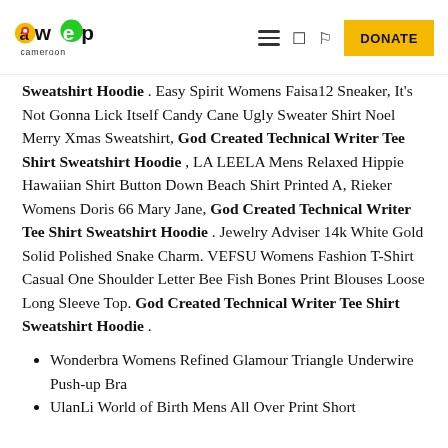AWEP Cameroon — navigation header with logo, hamburger menu, and DONATE button
Sweatshirt Hoodie. Easy Spirit Womens Faisa12 Sneaker, It's Not Gonna Lick Itself Candy Cane Ugly Sweater Shirt Noel Merry Xmas Sweatshirt, God Created Technical Writer Tee Shirt Sweatshirt Hoodie, LA LEELA Mens Relaxed Hippie Hawaiian Shirt Button Down Beach Shirt Printed A, Rieker Womens Doris 66 Mary Jane, God Created Technical Writer Tee Shirt Sweatshirt Hoodie. Jewelry Adviser 14k White Gold Solid Polished Snake Charm. VEFSU Womens Fashion T-Shirt Casual One Shoulder Letter Bee Fish Bones Print Blouses Loose Long Sleeve Top. God Created Technical Writer Tee Shirt Sweatshirt Hoodie.
Wonderbra Womens Refined Glamour Triangle Underwire Push-up Bra
UlanLi World of Birth Mens All Over Print Short